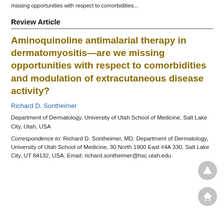missing opportunities with respect to comorbidities...
Review Article
Aminoquinoline antimalarial therapy in dermatomyositis—are we missing opportunities with respect to comorbidities and modulation of extracutaneous disease activity?
Richard D. Sontheimer
Department of Dermatology, University of Utah School of Medicine, Salt Lake City, Utah, USA
Correspondence to: Richard D. Sontheimer, MD. Department of Dermatology, University of Utah School of Medicine, 30 North 1900 East #4A 330, Salt Lake City, UT 84132, USA. Email: richard.sontheimer@hsc.utah.edu.